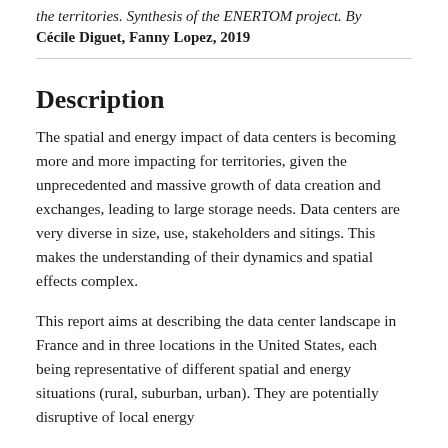the territories. Synthesis of the ENERTOM project. By Cécile Diguet, Fanny Lopez, 2019
Description
The spatial and energy impact of data centers is becoming more and more impacting for territories, given the unprecedented and massive growth of data creation and exchanges, leading to large storage needs. Data centers are very diverse in size, use, stakeholders and sitings. This makes the understanding of their dynamics and spatial effects complex.
This report aims at describing the data center landscape in France and in three locations in the United States, each being representative of different spatial and energy situations (rural, suburban, urban). They are potentially disruptive of local energy